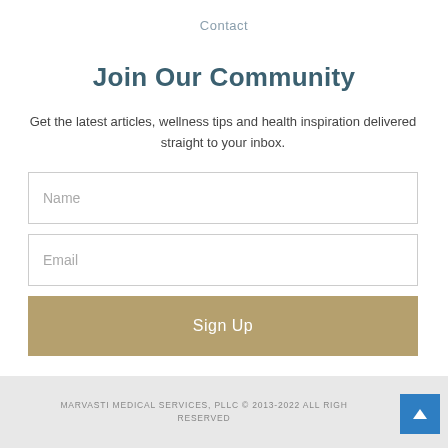Contact
Join Our Community
Get the latest articles, wellness tips and health inspiration delivered straight to your inbox.
MARVASTI MEDICAL SERVICES, PLLC © 2013-2022 ALL RIGHTS RESERVED